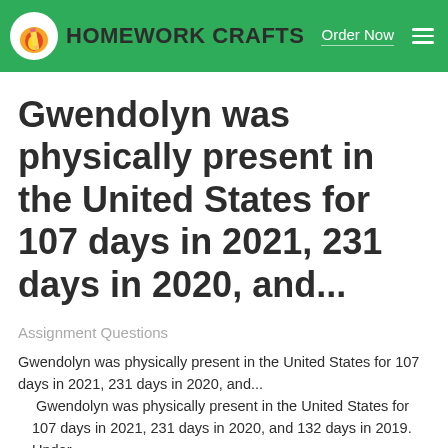HOMEWORK CRAFTS | Order Now
Gwendolyn was physically present in the United States for 107 days in 2021, 231 days in 2020, and...
Assignment Questions
Gwendolyn was physically present in the United States for 107 days in 2021, 231 days in 2020, and...
Gwendolyn was physically present in the United States for 107 days in 2021, 231 days in 2020, and 132 days in 2019. Under the substantial presence test for the current year, the...